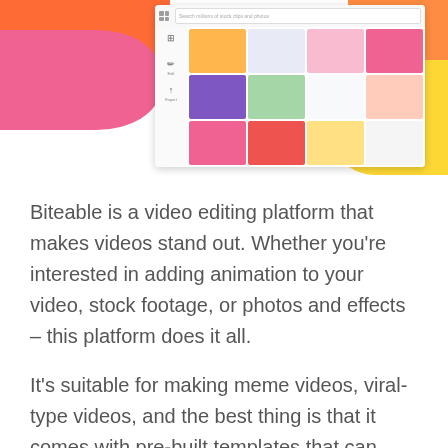[Figure (screenshot): Screenshot of Biteable video editing platform interface showing a colorful UI with a search bar, sidebar icons, and a grid of video thumbnail images. Colorful abstract shapes in orange, pink, and yellow appear in the background.]
Biteable is a video editing platform that makes videos stand out. Whether you're interested in adding animation to your video, stock footage, or photos and effects – this platform does it all.
It's suitable for making meme videos, viral-type videos, and the best thing is that it comes with pre-built templates that can help you start from scratch if you don't have a video yet.
But what's the funniest thing about this